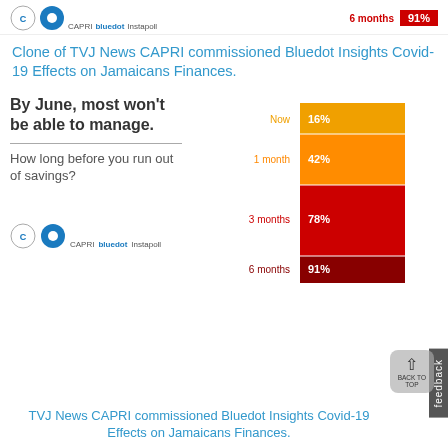CAPRI bluedot Instapoll | 6 months 91%
Clone of TVJ News CAPRI commissioned Bluedot Insights Covid-19 Effects on Jamaicans Finances.
[Figure (stacked-bar-chart): By June, most won't be able to manage. How long before you run out of savings?]
TVJ News CAPRI commissioned Bluedot Insights Covid-19 Effects on Jamaicans Finances.